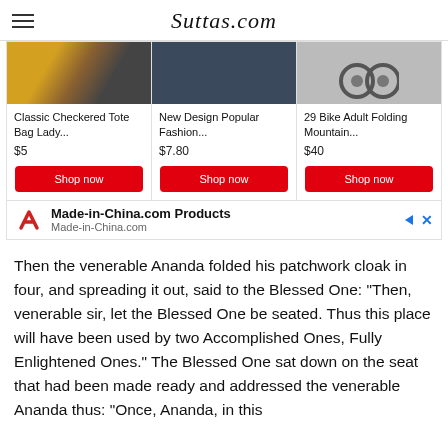Suttas.com
[Figure (screenshot): Advertisement showing three products from Made-in-China.com: Classic Checkered Tote Bag Lady ($5), New Design Popular Fashion... ($7.80), 29 Bike Adult Folding Mountain... ($40), each with a red 'Shop now' button.]
Then the venerable Ananda folded his patchwork cloak in four, and spreading it out, said to the Blessed One: "Then, venerable sir, let the Blessed One be seated. Thus this place will have been used by two Accomplished Ones, Fully Enlightened Ones." The Blessed One sat down on the seat that had been made ready and addressed the venerable Ananda thus: "Once, Ananda, in this